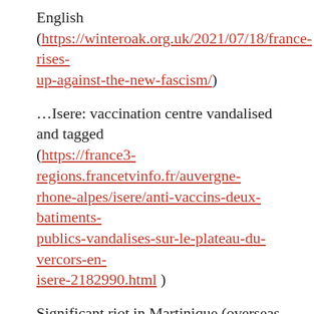English (https://winteroak.org.uk/2021/07/18/france-rises-up-against-the-new-fascism/)
...Isere: vaccination centre vandalised and tagged (https://france3-regions.francetvinfo.fr/auvergne-rhone-alpes/isere/anti-vaccins-deux-batiments-publics-vandalises-sur-le-plateau-du-vercors-en-isere-2182990.html )
Significant riot in Martinique (overseas territory of France) (https://la1ere.francetvinfo.fr/martinique/1-policier-blesse-et-5-interpellations-apres-les-heurts-a-fort-de-france-ou-des-bijouteries-ont-ete-la-cible-de-casseurs-1060987.html )
“During this night of confrontations between the forces of order and anti-curfew demonstrators...